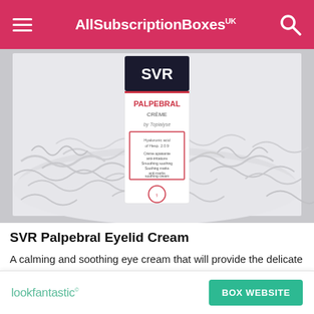AllSubscriptionBoxes UK
[Figure (photo): SVR Palpebral Crème product box sitting in white shredded paper inside a subscription box]
SVR Palpebral Eyelid Cream
A calming and soothing eye cream that will provide the delicate undereye area with up to 24 hours of essential
[Figure (logo): lookfantastic logo in teal/green color]
BOX WEBSITE